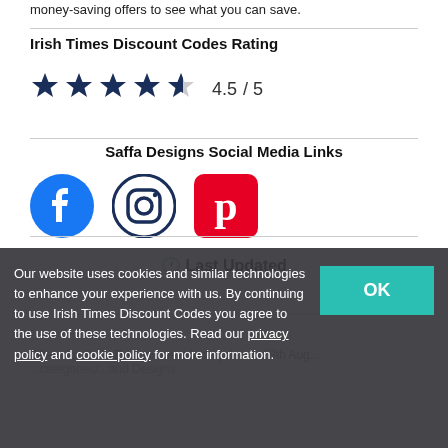money-saving offers to see what you can save.
Irish Times Discount Codes Rating
[Figure (other): 4.5 out of 5 stars rating with text '4.5 / 5']
Saffa Designs Social Media Links
[Figure (other): Social media icons: Facebook, Instagram, Pinterest]
🕐 Last Updated
Offers for Saffa Designs were last updated: 29th Aug...
Our website uses cookies and similar technologies to enhance your experience with us. By continuing to use Irish Times Discount Codes you agree to the use of these technologies. Read our privacy policy and cookie policy for more information.